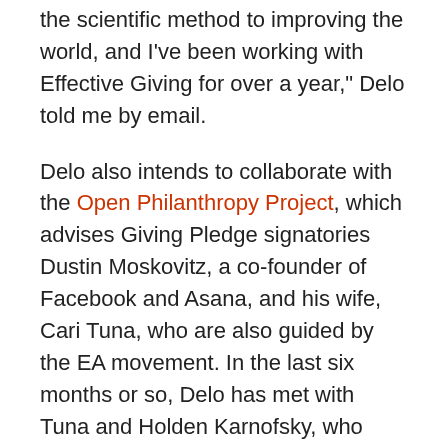the scientific method to improving the world, and I've been working with Effective Giving for over a year," Delo told me by email.
Delo also intends to collaborate with the Open Philanthropy Project, which advises Giving Pledge signatories Dustin Moskovitz, a co-founder of Facebook and Asana, and his wife, Cari Tuna, who are also guided by the EA movement. In the last six months or so, Delo has met with Tuna and Holden Karnofsky, who leads OpenPhil, as well as with leaders of such EA-influenced